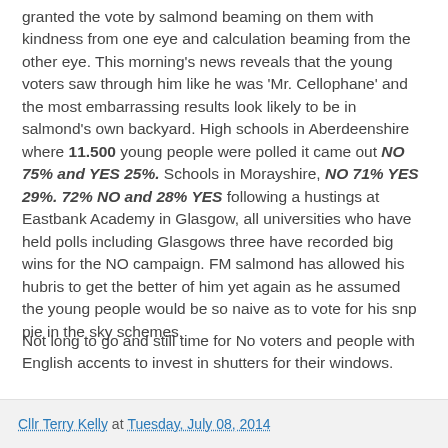granted the vote by salmond beaming on them with kindness from one eye and calculation beaming from the other eye. This morning's news reveals that the young voters saw through him like he was 'Mr. Cellophane' and the most embarrassing results look likely to be in salmond's own backyard. High schools in Aberdeenshire where 11.500 young people were polled it came out NO 75% and YES 25%. Schools in Morayshire, NO 71% YES 29%. 72% NO and 28% YES following a hustings at Eastbank Academy in Glasgow, all universities who have held polls including Glasgows three have recorded big wins for the NO campaign. FM salmond has allowed his hubris to get the better of him yet again as he assumed the young people would be so naive as to vote for his snp pie in the sky schemes.
Not long to go and still time for No voters and people with English accents to invest in shutters for their windows.
Cllr Terry Kelly at Tuesday, July 08, 2014